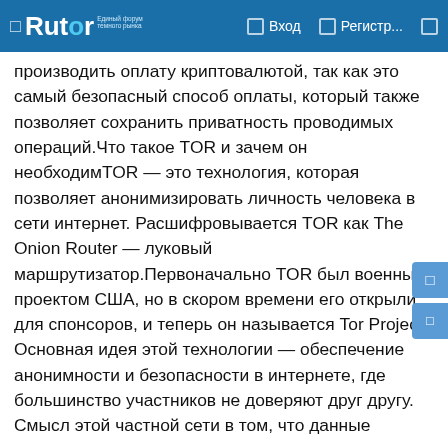Rutor — Вход — Регистр...
производить оплату криптовалютой, так как это самый безопасный способ оплаты, который также позволяет сохранить приватность проводимых операций.Что такое TOR и зачем он необходимTOR — это технология, которая позволяет анонимизировать личность человека в сети интернет. Расшифровывается TOR как The Onion Router — луковый маршрутизатор.Первоначально TOR был военным проектом США, но в скором времени его открыли для спонсоров, и теперь он называется Tor Project. Основная идея этой технологии — обеспечение анонимности и безопасности в интернете, где большинство участников не доверяют друг другу. Смысл этой частной сети в том, что данные проходят через несколько компьютеров, шифруются, у них меняется IP-адрес и вы получаете зашифрованный канал передачи данных.Что обязательно необходимо учитывать при работе с Гидрой?От недобросовестных сделок с различными магазинами при посещении портала не застрахован ни один пользователь.В связи с этим модераторы площадки рекомендуют:смотреть